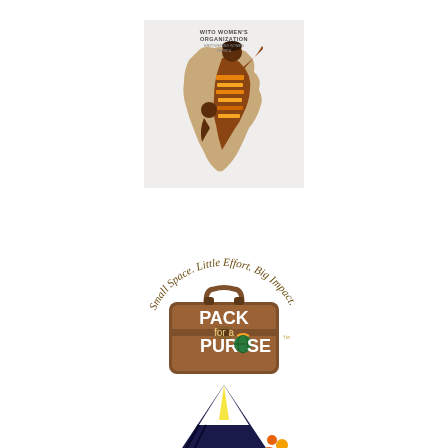[Figure (logo): WITO Women's Organization logo featuring Africa continent silhouette in tan/brown with a woman in colorful kente cloth patterns holding a child, text reads 'WITO WOMEN'S ORGANIZATION' at top]
[Figure (logo): Pack for a Purpose logo with brown suitcase illustration and curved text reading 'Small Space. Little Effort. Big Impact.' arching over the top, with 'PACK for a PURPOSE TM' text on suitcase]
[Figure (logo): Partial logo at bottom showing a snow-capped mountain (Kilimanjaro style) in dark blue/black with yellow stripe and orange flowers/figures at base]